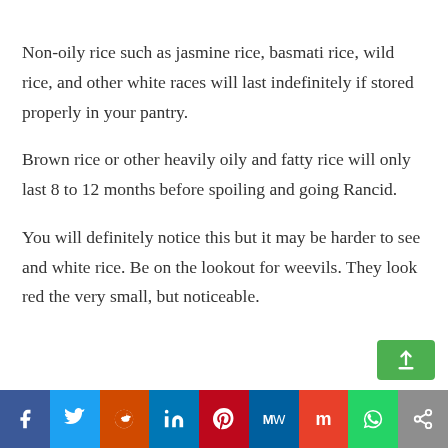Non-oily rice such as jasmine rice, basmati rice, wild rice, and other white races will last indefinitely if stored properly in your pantry.
Brown rice or other heavily oily and fatty rice will only last 8 to 12 months before spoiling and going Rancid.
You will definitely notice this but it may be harder to see and white rice. Be on the lookout for weevils. They look red the very small, but noticeable.
[Figure (infographic): Social media sharing bar with icons for Facebook, Twitter, Reddit, LinkedIn, Pinterest, MeWe, Mix, WhatsApp, and Share]